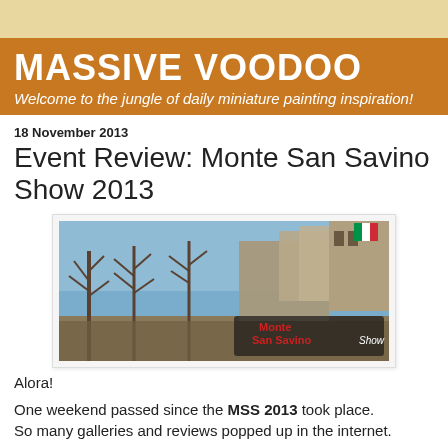MASSIVE VOODOO
Welcome to the jungle of daily miniature painting inspiration!
18 November 2013
Event Review: Monte San Savino Show 2013
[Figure (photo): Outdoor photo of Monte San Savino town with bare trees in winter, historic buildings in background, Italian flag visible, Monte San Savino Show logo overlay in bottom right]
Alora!
One weekend passed since the MSS 2013 took place. So many galleries and reviews popped up in the internet.